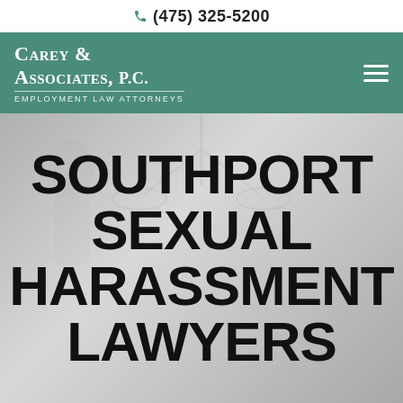(475) 325-5200
[Figure (logo): Carey & Associates, P.C. Employment Law Attorneys logo on teal/green header with hamburger menu icon]
SOUTHPORT SEXUAL HARASSMENT LAWYERS